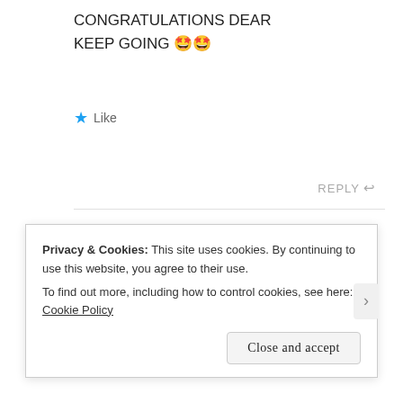CONGRATULATIONS DEAR
KEEP GOING 🤩🤩
★ Like
REPLY ↩
Maya Rajesh says:
16TH MAY 2021 AT 8:17 PM
Aww, thank you so much ❤
Privacy & Cookies: This site uses cookies. By continuing to use this website, you agree to their use.
To find out more, including how to control cookies, see here: Cookie Policy
Close and accept